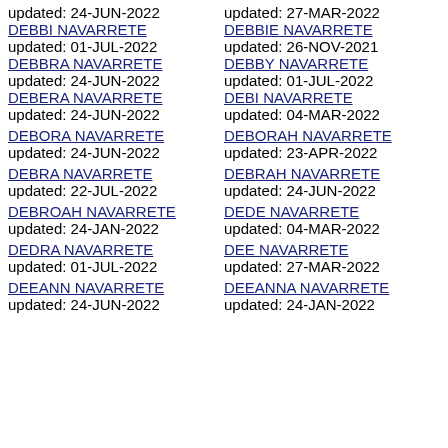updated: 24-JUN-2022
DEBBI NAVARRETE
updated: 01-JUL-2022
DEBBRA NAVARRETE
updated: 24-JUN-2022
DEBERA NAVARRETE
updated: 24-JUN-2022
DEBORA NAVARRETE
updated: 24-JUN-2022
DEBRA NAVARRETE
updated: 22-JUL-2022
DEBROAH NAVARRETE updated: 24-JAN-2022
DEDRA NAVARRETE
updated: 01-JUL-2022
DEEANN NAVARRETE
updated: 24-JUN-2022
updated: 27-MAR-2022
DEBBIE NAVARRETE
updated: 26-NOV-2021
DEBBY NAVARRETE
updated: 01-JUL-2022
DEBI NAVARRETE
updated: 04-MAR-2022
DEBORAH NAVARRETE updated: 23-APR-2022
DEBRAH NAVARRETE
updated: 24-JUN-2022
DEDE NAVARRETE
updated: 04-MAR-2022
DEE NAVARRETE
updated: 27-MAR-2022
DEEANNA NAVARRETE updated: 24-JAN-2022